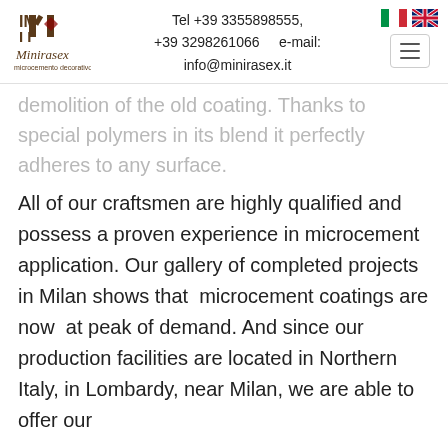Minirasex microcement decorativo — Tel +39 3355898555, +39 3298261066 e-mail: info@minirasex.it
demolition of the old coating. Thanks to special polymers in its blend it perfectly adheres to any surface.
All of our craftsmen are highly qualified and possess a proven experience in microcement application. Our gallery of completed projects in Milan shows that microcement coatings are now at peak of demand. And since our production facilities are located in Northern Italy, in Lombardy, near Milan, we are able to offer our